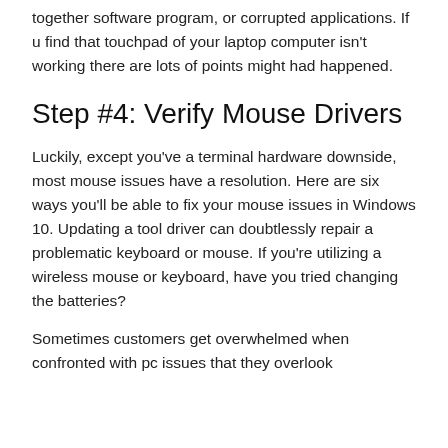together software program, or corrupted applications. If u find that touchpad of your laptop computer isn't working there are lots of points might had happened.
Step #4: Verify Mouse Drivers
Luckily, except you've a terminal hardware downside, most mouse issues have a resolution. Here are six ways you'll be able to fix your mouse issues in Windows 10. Updating a tool driver can doubtlessly repair a problematic keyboard or mouse. If you're utilizing a wireless mouse or keyboard, have you tried changing the batteries?
Sometimes customers get overwhelmed when confronted with pc issues that they overlook